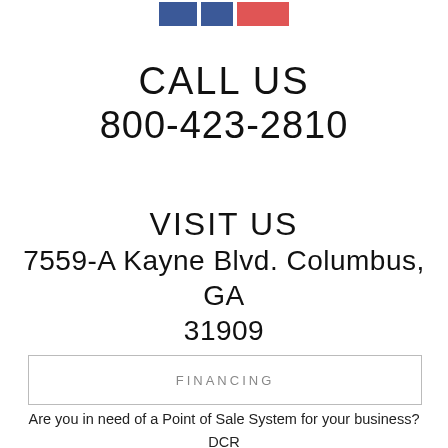[Figure (logo): Three colored rectangles: two blue squares and one red rectangle, forming a logo/social media icon bar at top]
CALL US
800-423-2810
VISIT US
7559-A Kayne Blvd. Columbus, GA 31909
FINANCING
Are you in need of a Point of Sale System for your business? DCR has affordable solutions for you.